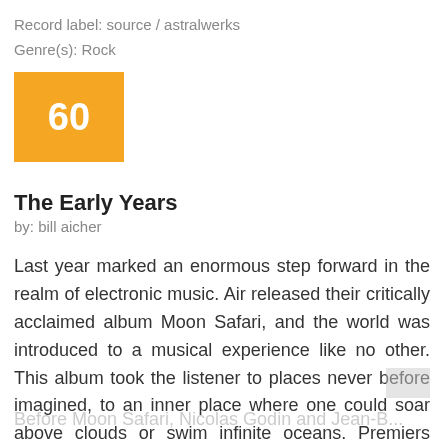Record label: source / astralwerks
Genre(s): Rock
[Figure (other): Orange/yellow score box displaying the number 60]
The Early Years
by: bill aicher
Last year marked an enormous step forward in the realm of electronic music. Air released their critically acclaimed album Moon Safari, and the world was introduced to a musical experience like no other. This album took the listener to places never before imagined, to an inner place where one could soar above clouds or swim infinite oceans. Premiers Symptomes, a collection of early singles by Air, is the travel brochure.
Before Moon Safari, Nicolas Godin and Jean-Benoît...